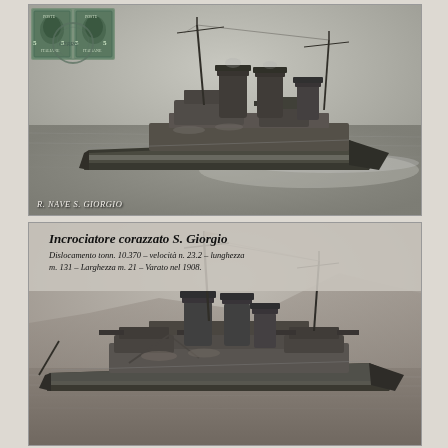[Figure (photo): Black and white postcard photograph of the Italian armored cruiser R. Nave S. Giorgio (Royal Ship St. George) at sea, viewed from bow-port quarter. Two Italian postage stamps (5 centesimi denomination, green) with postmark 'CERRO' are affixed in the upper left corner. Caption 'R. NAVE S. GIORGIO' appears in the lower left of the image.]
[Figure (photo): Black and white postcard photograph of the Italian armored cruiser S. Giorgio in harbor/at anchor, viewed from port side. Text overlay at top reads: 'Incrociatore corazzato S. Giorgio / Dislocamento tonn. 10.370 – velocità n. 23.2 – lunghezza / m. 131 – Larghezza m. 21 – Varato nel 1908.']